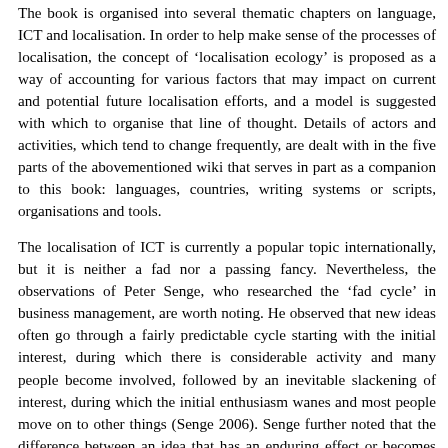The book is organised into several thematic chapters on language, ICT and localisation. In order to help make sense of the processes of localisation, the concept of 'localisation ecology' is proposed as a way of accounting for various factors that may impact on current and potential future localisation efforts, and a model is suggested with which to organise that line of thought. Details of actors and activities, which tend to change frequently, are dealt with in the five parts of the abovementioned wiki that serves in part as a companion to this book: languages, countries, writing systems or scripts, organisations and tools.
The localisation of ICT is currently a popular topic internationally, but it is neither a fad nor a passing fancy. Nevertheless, the observations of Peter Senge, who researched the 'fad cycle' in business management, are worth noting. He observed that new ideas often go through a fairly predictable cycle starting with the initial interest, during which there is considerable activity and many people become involved, followed by an inevitable slackening of interest, during which the initial enthusiasm wanes and most people move on to other things (Senge 2006). Senge further noted that the difference between an idea that has an enduring effect or becomes institutionalised in a sustainable way on the one hand, and a passing fad that has little long-term effect on the other, is the degree to which the idea is solidly supported by or linked to theory. Apart from some work on the importance of first languages (L1S) as media for communication and learning